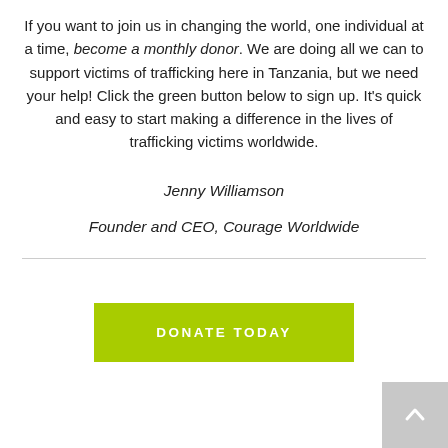If you want to join us in changing the world, one individual at a time, become a monthly donor. We are doing all we can to support victims of trafficking here in Tanzania, but we need your help! Click the green button below to sign up. It's quick and easy to start making a difference in the lives of trafficking victims worldwide.
Jenny Williamson
Founder and CEO, Courage Worldwide
[Figure (other): Green donate button with text DONATE TODAY]
[Figure (other): Grey back-to-top arrow button in bottom right corner]